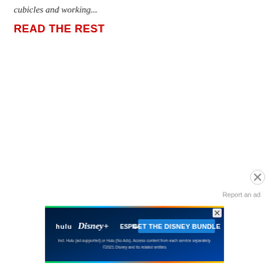cubicles and working...
READ THE REST
[Figure (screenshot): Advertisement banner for Disney Bundle (Hulu, Disney+, ESPN+) with blue gradient background and 'GET THE DISNEY BUNDLE' call-to-action button]
Report an ad